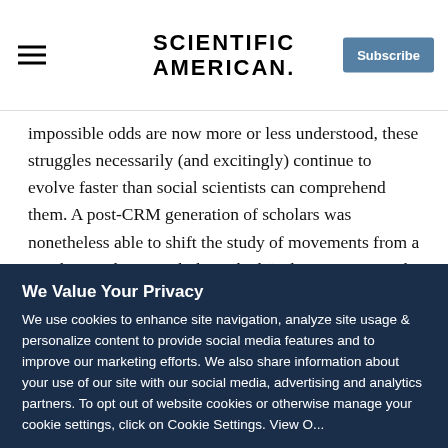Scientific American | Subscribe
impossible odds are now more or less understood, these struggles necessarily (and excitingly) continue to evolve faster than social scientists can comprehend them. A post-CRM generation of scholars was nonetheless able to shift the study of movements from a psychosocial approach that asked “What is wrong with the participants? Why are they acting irrationally?” to a methodological one that sought answers to questions such as “How do you launch a movement? How do you sustain it despite repression? What strategies are most likely to succeed, and why?”
We Value Your Privacy
We use cookies to enhance site navigation, analyze site usage & personalize content to provide social media features and to improve our marketing efforts. We also share information about your use of our site with our social media, advertising and analytics partners. To opt out of website cookies or otherwise manage your cookie settings, click on Cookie Settings. View O...